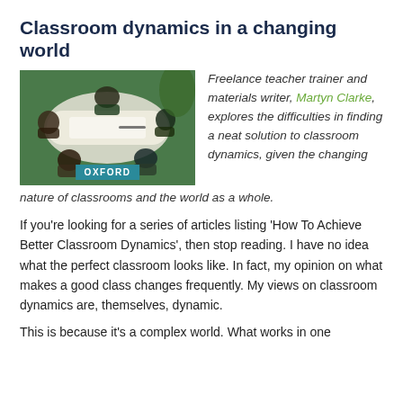Classroom dynamics in a changing world
[Figure (photo): Overhead/bird's-eye view of students gathered around a white table, working together. An Oxford logo/badge is overlaid in the lower center of the image.]
Freelance teacher trainer and materials writer, Martyn Clarke, explores the difficulties in finding a neat solution to classroom dynamics, given the changing nature of classrooms and the world as a whole.
If you're looking for a series of articles listing 'How To Achieve Better Classroom Dynamics', then stop reading. I have no idea what the perfect classroom looks like. In fact, my opinion on what makes a good class changes frequently. My views on classroom dynamics are, themselves, dynamic.
This is because it's a complex world. What works in one